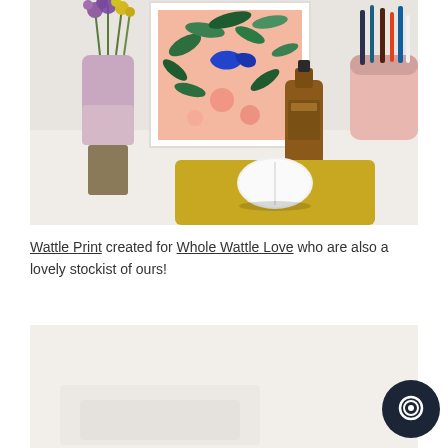[Figure (photo): A styled desk scene with a vase of purple and yellow flowers, a colorful floral art print in a white frame, an amber glass bottle, a pink cylindrical pencil holder, and a white Apple Magic Mouse on a yellow mouse pad on a white surface.]
Wattle Print created for Whole Wattle Love who are also a lovely stockist of ours!
[Figure (photo): Bottom portion of a second photo, partially visible, appears to show a white surface with some items, cropped at bottom of page.]